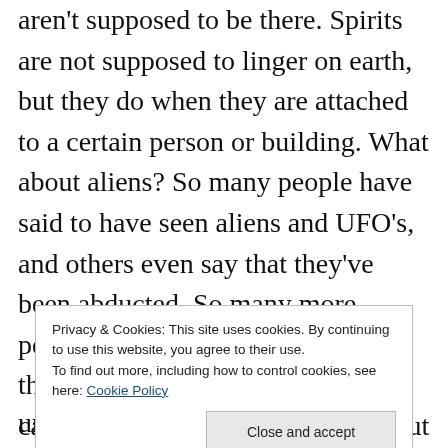aren't supposed to be there. Spirits are not supposed to linger on earth, but they do when they are attached to a certain person or building. What about aliens? So many people have said to have seen aliens and UFO's, and others even say that they've been abducted. So many more people believe in aliens more than they believe in ghosts. Scientists can't prove their existence either, but they have made studies as well and nowhere does it say aliens definitely exists, but rather things that suggest the existence of
Privacy & Cookies: This site uses cookies. By continuing to use this website, you agree to their use.
To find out more, including how to control cookies, see here: Cookie Policy
understanding.